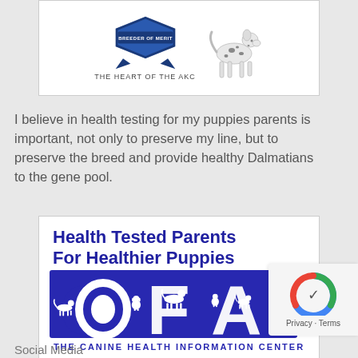[Figure (logo): AKC Breeder of Merit badge with ribbon logo and text 'THE HEART OF THE AKC', alongside a Dalmatian dog illustration]
I believe in health testing for my puppies parents is important, not only to preserve my line, but to preserve the breed and provide healthy Dalmatians to the gene pool.
[Figure (logo): OFA Health Tested Parents For Healthier Puppies logo - The Canine Health Information Center, with large blue OFA letters and dog silhouettes]
[Figure (logo): Google reCAPTCHA badge with Privacy and Terms links]
Social Media